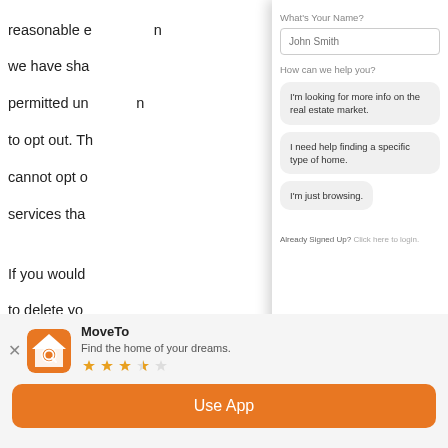reasonable e... we have sha... permitted un... to opt out. Th... cannot opt o... services tha...
If you would... to delete yo... send a mess...
www.stgeor...
your informa...
[Figure (screenshot): Chat widget overlay with fields: 'What's Your Name?' with placeholder 'John Smith', 'How can we help you?' with three option buttons: 'I'm looking for more info on the real estate market.', 'I need help finding a specific type of home.', 'I'm just browsing.', and a footer 'Already Signed Up? Click here to login.']
[Figure (screenshot): App install banner for 'MoveTo' app. Shows app icon (house with magnifying glass on orange background), name 'MoveTo', tagline 'Find the home of your dreams.', 3.5 star rating, and an orange 'Use App' button.]